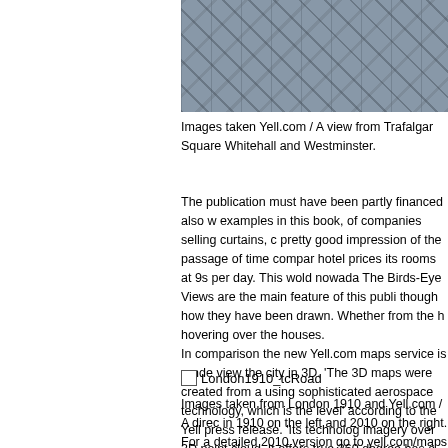[Figure (photo): Aerial bird's-eye view photograph of London buildings and streets, showing rooftops and urban layout from above.]
Images taken Yell.com / A view from Trafalgar Square Whitehall and Westminster.
The publication must have been partly financed also with examples in this book, of companies selling curtains, c pretty good impression of the passage of time compar hotel prices its rooms at 9s per day. This wold nowada The Birds-Eye Views are the main feature of this publi though how they have been drawn. Whether from the h hovering over the houses. In comparison the new Yell.com maps service is rende view the city in 3D. 'The 3D maps were created from a using sophisticated aerospace technology, which is the level' according to the Yell press release. 'Its technolog imagery over 3D point cloud. It offers true 360 degree has a control to adjust the tilt of the camera to the hori
[Figure (other): Checkbox UI element labeled London1910_tcRoad]
Images taken from London 1910 and Yell.com / A direc in 1910 on the left and 2010 on the right. For a detailed 2010 version go to yell.com/maps